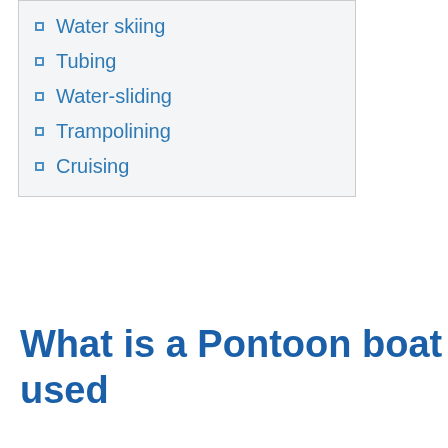Water skiing
Tubing
Water-sliding
Trampolining
Cruising
What is a Pontoon boat used